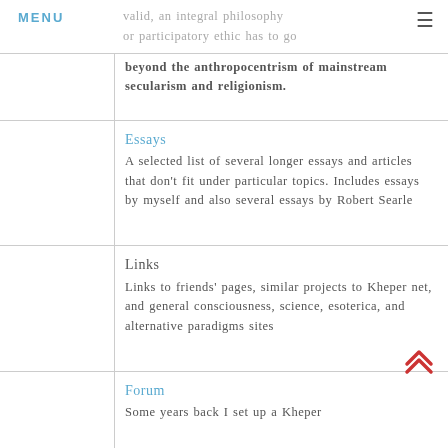MENU
valid, an integral philosophy or participatory ethic has to go beyond the anthropocentrism of mainstream secularism and religionism.
Essays
A selected list of several longer essays and articles that don't fit under particular topics. Includes essays by myself and also several essays by Robert Searle
Links
Links to friends' pages, similar projects to Kheper net, and general consciousness, science, esoterica, and alternative paradigms sites
Forum
Some years back I set up a Kheper